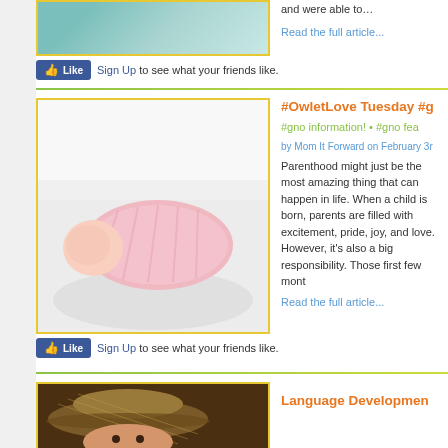[Figure (photo): Top image showing stacked light teal/mint colored circular objects on a light background]
and were able to…
Read the full article...
Sign Up to see what your friends like.
[Figure (photo): Newborn baby wrapped in pink swaddle lying face down on white bedding]
#OwletLove Tuesday #g
#gno information! • #gno fea
by Mom It Forward on February 3r
Parenthood might just be the most amazing thing that can happen in life. When a child is born, parents are filled with excitement, pride, joy, and love. However, it's also a big responsibility. Those first few mont
Read the full article...
Sign Up to see what your friends like.
[Figure (photo): Child wearing a straw hat, partial view]
Language Developmen